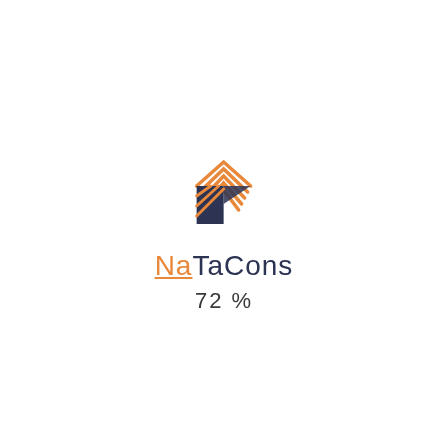[Figure (logo): NaTaCons company logo with geometric house/chevron shape in orange and dark navy, with orange diagonal stripes and dark navy triangular shapes forming a stylized building icon]
NaTaCons
72%